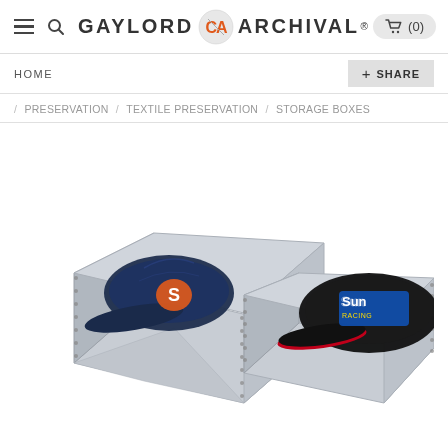GAYLORD ARCHIVAL (0)
HOME
+ SHARE
/ PRESERVATION / TEXTILE PRESERVATION / STORAGE BOXES
[Figure (photo): Photo of two archival hat/cap storage boxes made of grey corrugated board with metal riveted edges. One box is open showing a navy Syracuse University baseball cap with an orange S logo inside. A second black cap with a racing logo is resting against the second box to the right.]